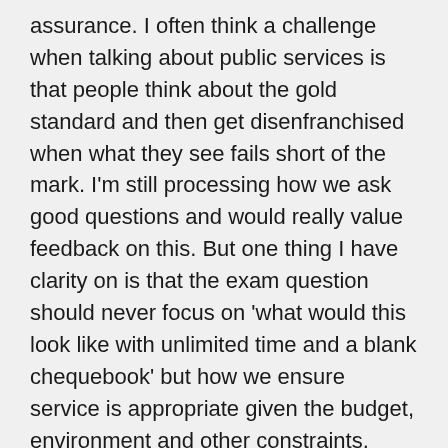assurance. I often think a challenge when talking about public services is that people think about the gold standard and then get disenfranchised when what they see fails short of the mark. I'm still processing how we ask good questions and would really value feedback on this. But one thing I have clarity on is that the exam question should never focus on 'what would this look like with unlimited time and a blank chequebook' but how we ensure service is appropriate given the budget, environment and other constraints. would I be happy for my loved ones to receive this care, are services safe, and is the tax payer getting good value for money?
On the topic of good value for the tax payer, I filed my tax return. The HMRC Self Assment service continues, in my mind, to be one of the biggest successes of the Government Digital Service. The commitment to doing the hard work to make things simple is really paying off. All of us who build services should follow this great